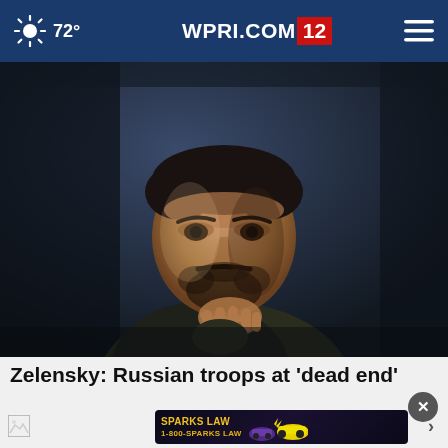72° WPRI.COM 12
[Figure (photo): A man (Zelensky) in a dark jacket, looking pensive with his hand raised to his chin, photographed in dramatic low lighting against a blurred background.]
Zelensky: Russian troops at 'dead end'
[Figure (other): Advertisement banner for Sparks Law 1-800-SPARKS LAW with cars imagery on dark background]